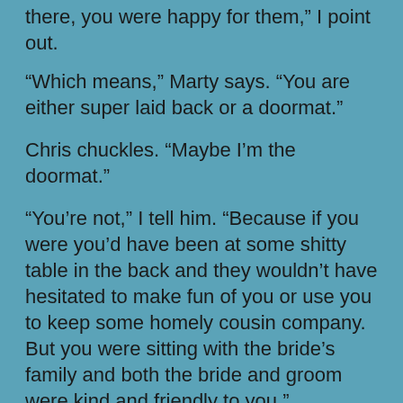there, you were happy for them,” I point out.
“Which means,” Marty says. “You are either super laid back or a doormat.”
Chris chuckles. “Maybe I’m the doormat.”
“You’re not,” I tell him. “Because if you were you’d have been at some shitty table in the back and they wouldn’t have hesitated to make fun of you or use you to keep some homely cousin company. But you were sitting with the bride’s family and both the bride and groom were kind and friendly to you.”
Chris shrugs. “Celeste and I broke up a couple years before she got together with Roger. We were friends and I was close to her family.”